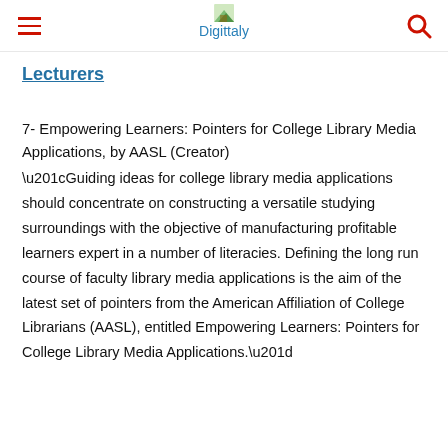Digittaly
Lecturers
7- Empowering Learners: Pointers for College Library Media Applications, by AASL (Creator)
“Guiding ideas for college library media applications should concentrate on constructing a versatile studying surroundings with the objective of manufacturing profitable learners expert in a number of literacies. Defining the long run course of faculty library media applications is the aim of the latest set of pointers from the American Affiliation of College Librarians (AASL), entitled Empowering Learners: Pointers for College Library Media Applications.”